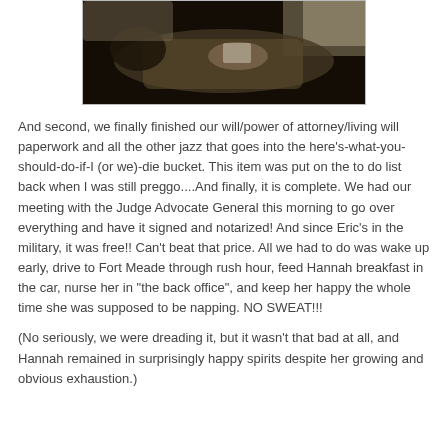[Figure (photo): A dark photograph of a person lying down, appearing to be holding or reading something, with soft indoor lighting in the background.]
And second, we finally finished our will/power of attorney/living will paperwork and all the other jazz that goes into the here's-what-you-should-do-if-I (or we)-die bucket. This item was put on the to do list back when I was still preggo....And finally, it is complete. We had our meeting with the Judge Advocate General this morning to go over everything and have it signed and notarized!  And since Eric's in the military, it was free!! Can't beat that price.   All we had to do was wake up early, drive to Fort Meade through rush hour, feed Hannah breakfast in the car, nurse her in "the back office", and keep her happy the whole time she was supposed to be napping.  NO SWEAT!!!
(No seriously, we were dreading it, but it wasn't that bad at all, and Hannah remained in surprisingly happy spirits despite her growing and obvious exhaustion.)